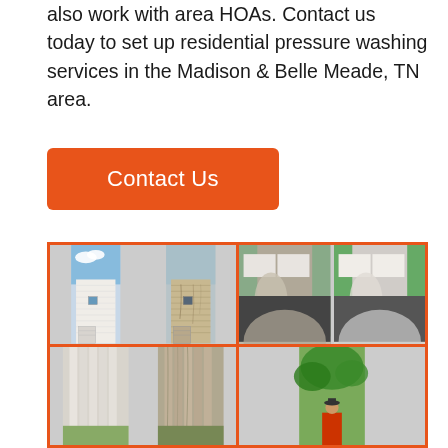also work with area HOAs. Contact us today to set up residential pressure washing services in the Madison & Belle Meade, TN area.
Contact Us
[Figure (photo): A 2x2 collage of before-and-after pressure washing photos: top-left shows two house siding panels (clean white vs dirty/stained), top-right shows a 2x2 grid of driveway before/after shots, bottom-left shows close-up of wood/siding strips before and after, bottom-right shows a person and tree canopy outdoors.]